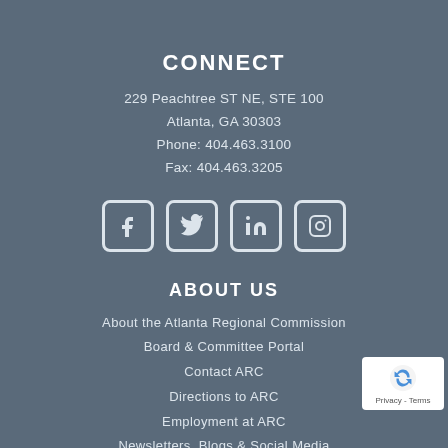CONNECT
229 Peachtree ST NE, STE 100
Atlanta, GA 30303
Phone: 404.463.3100
Fax: 404.463.3205
[Figure (other): Social media icons: Facebook, Twitter, LinkedIn, Instagram]
ABOUT US
About the Atlanta Regional Commission
Board & Committee Portal
Contact ARC
Directions to ARC
Employment at ARC
Newsletters, Blogs & Social Media
News Center
RESOURCES BY TYPE